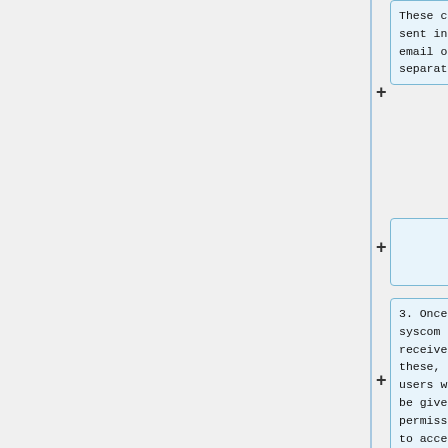These can be sent in one email or separately.
3. Once syscom receives these, the users will be given permission to access your club website by adding you to your corresponding club group (for example, the